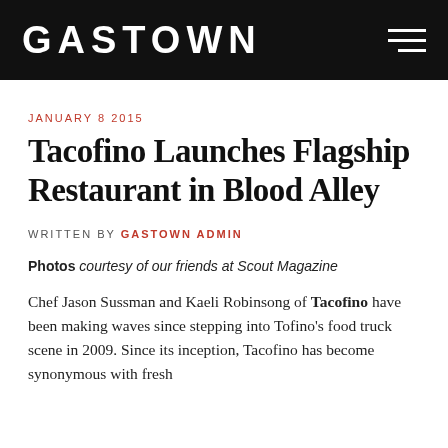GASTOWN
JANUARY 8 2015
Tacofino Launches Flagship Restaurant in Blood Alley
WRITTEN BY GASTOWN ADMIN
Photos courtesy of our friends at Scout Magazine
Chef Jason Sussman and Kaeli Robinsong of Tacofino have been making waves since stepping into Tofino's food truck scene in 2009. Since its inception, Tacofino has become synonymous with fresh